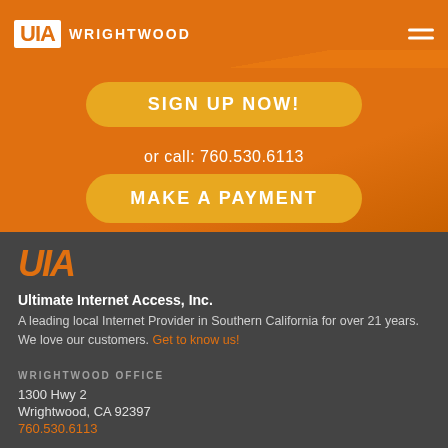UIA WRIGHTWOOD
SIGN UP NOW!
or call: 760.530.6113
MAKE A PAYMENT
[Figure (logo): UIA logo in orange italic letters]
Ultimate Internet Access, Inc.
A leading local Internet Provider in Southern California for over 21 years. We love our customers. Get to know us!
WRIGHTWOOD OFFICE
1300 Hwy 2
Wrightwood, CA 92397
760.530.6113
HEADQUARTERS